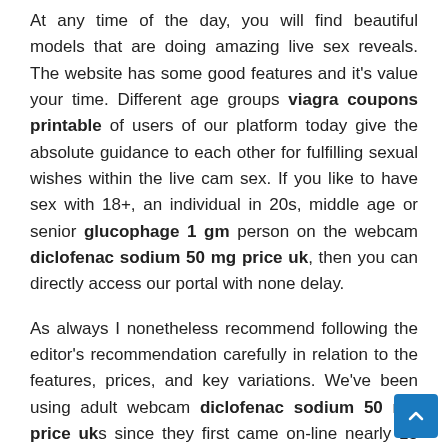At any time of the day, you will find beautiful models that are doing amazing live sex reveals. The website has some good features and it's value your time. Different age groups viagra coupons printable of users of our platform today give the absolute guidance to each other for fulfilling sexual wishes within the live cam sex. If you like to have sex with 18+, an individual in 20s, middle age or senior glucophage 1 gm person on the webcam diclofenac sodium 50 mg price uk, then you can directly access our portal with none delay.
As always I nonetheless recommend following the editor's recommendation carefully in relation to the features, prices, and key variations. We've been using adult webcam diclofenac sodium 50 mg price uks since they first came on-line nearly 15 years ago. B.A.C.S. came to be one of the first locations on the internet where you would read real and sincere evaluations in regards to the top places to speak with girls on webcam diclofenac sodium 50 mg price uk. As real common customers of all the most visited cam sex websites, you're